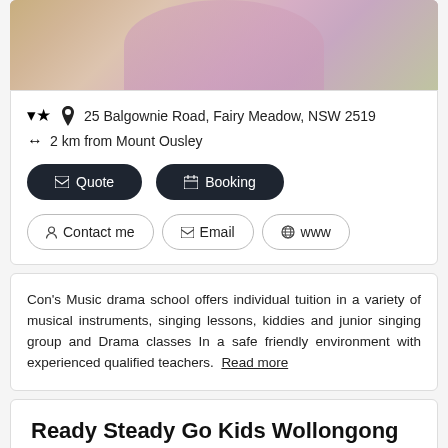[Figure (photo): Partial photo of a person (appears to be a woman with light hair) wearing a purple dress, holding a microphone, with gold decorations in background. Only upper body/cropped visible.]
25 Balgownie Road, Fairy Meadow, NSW 2519
2 km from Mount Ousley
✉ Quote
🗓 Booking
👤 Contact me
✉ Email
🌐 www
Con's Music drama school offers individual tuition in a variety of musical instruments, singing lessons, kiddies and junior singing group and Drama classes In a safe friendly environment with experienced qualified teachers.  Read more
Ready Steady Go Kids Wollongong
Sports > Pre School Sports